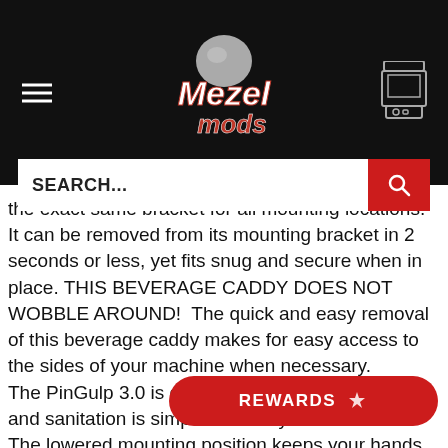Mezel Mods
the exact same bracket for all mounting locations. It can be removed from its mounting bracket in 2 seconds or less, yet fits snug and secure when in place. THIS BEVERAGE CADDY DOES NOT WOBBLE AROUND!  The quick and easy removal of this beverage caddy makes for easy access to the sides of your machine when necessary.
The PinGulp 3.0 is dishwasher safe, so clean up and sanitation is simple and easy.
The lowered mounting position keeps your hands from hitting the top of your beverage w... saves, slap passes, or nudging; no accidental spittage!
Includes optional screw to keep your cup fastened to the